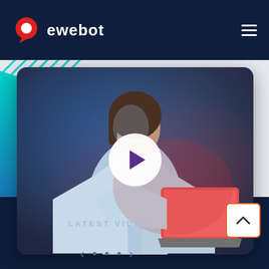[Figure (logo): ewebot logo: red speech bubble with white circle, white text 'ewebot']
[Figure (photo): Woman in white blazer holding a red/pink laptop, lit with blue and red lighting, dark background, with a white play button overlay in the center]
LATEST VIDEO